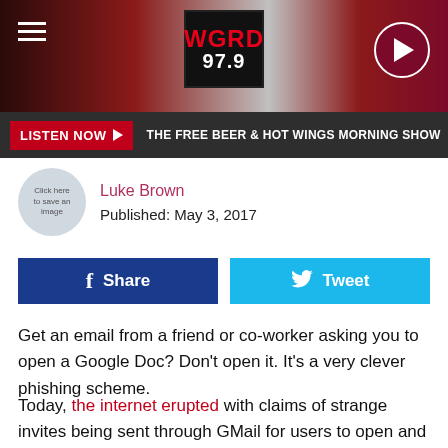[Figure (logo): WGRD 97.9 radio station logo on dark header bar with hamburger menu and play button]
LISTEN NOW ▶  THE FREE BEER & HOT WINGS MORNING SHOW
Luke Brown
Published: May 3, 2017
[Figure (other): Facebook Share button and Twitter Tweet button]
Get an email from a friend or co-worker asking you to open a Google Doc? Don't open it. It's a very clever phishing scheme.
Today, the internet erupted with claims of strange invites being sent through GMail for users to open and check out a new Google Document. Where most email schemes are fairly easy to spot from the get go due to their irregular use of grammar or strange email addresses, this phishing scam